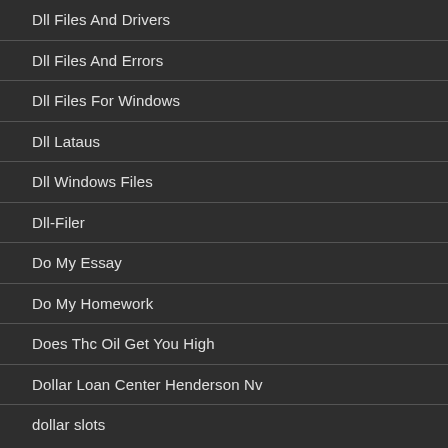Dll Files And Drivers
Dll Files And Errors
Dll Files For Windows
Dll Lataus
Dll Windows Files
Dll-Filer
Do My Essay
Do My Homework
Does Thc Oil Get You High
Dollar Loan Center Henderson Nv
dollar slots